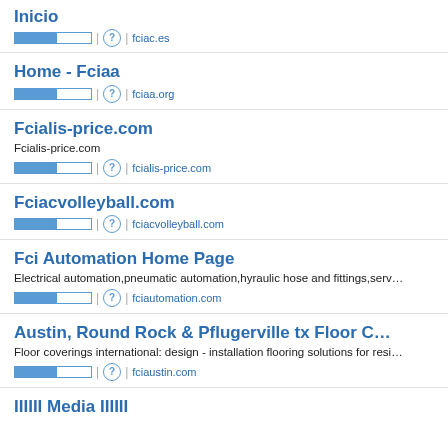Inicio | fciac.es
Home - Fciaa | fciaa.org
Fcialis-price.com | Fcialis-price.com | fcialis-price.com
Fciacvolleyball.com | fciacvolleyball.com
Fci Automation Home Page | Electrical automation,pneumatic automation,hyraulic hose and fittings,serv... | fciautomation.com
Austin, Round Rock & Pflugerville tx Floor C... | Floor coverings international: design - installation flooring solutions for resi... | fciaustin.com
IIIIII Media IIIIII